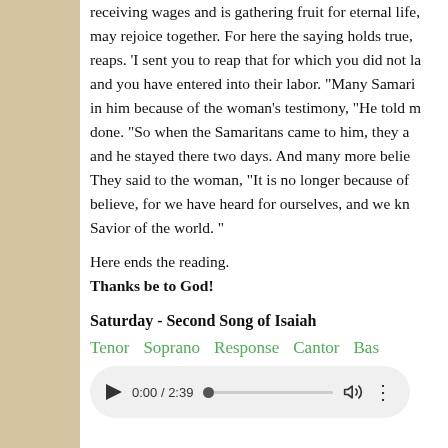receiving wages and is gathering fruit for eternal life, may rejoice together. For here the saying holds true, reaps. 'I sent you to reap that for which you did not la and you have entered into their labor. "Many Samaritans in him because of the woman's testimony, "He told me done. "So when the Samaritans came to him, they a and he stayed there two days. And many more believed They said to the woman, "It is no longer because of believe, for we have heard for ourselves, and we kno Savior of the world. "
Here ends the reading.
Thanks be to God!
Saturday - Second Song of Isaiah
Tenor   Soprano   Response   Cantor   Bass
[Figure (other): Audio player showing 0:00 / 2:39 with play button, progress bar, volume and more options icons]